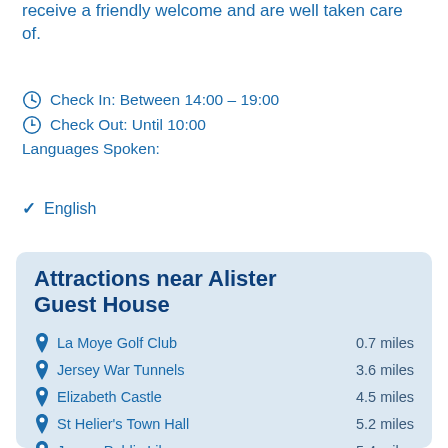receive a friendly welcome and are well taken care of.
Check In: Between 14:00 – 19:00
Check Out: Until 10:00
Languages Spoken:
English
Attractions near Alister Guest House
La Moye Golf Club – 0.7 miles
Jersey War Tunnels – 3.6 miles
Elizabeth Castle – 4.5 miles
St Helier's Town Hall – 5.2 miles
Jersey Public Library – 5.4 miles